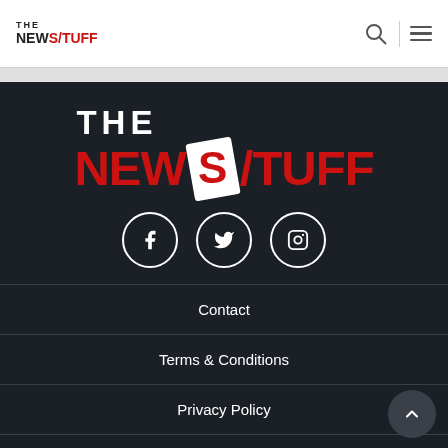THE NEWS/TUFF
[Figure (logo): The New Stuff logo — large white THE above dark red NEWSTUFF with white tilted S card in a dark background]
[Figure (infographic): Three social media icon circles: Facebook, Twitter, Instagram]
Contact
Terms & Conditions
Privacy Policy